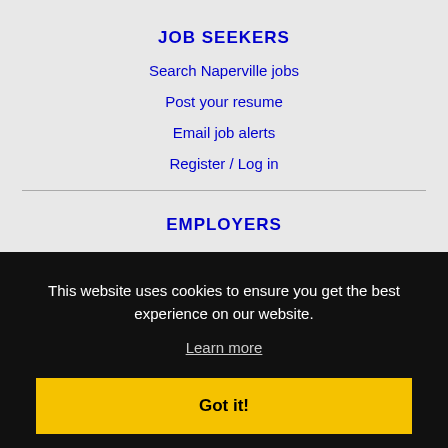JOB SEEKERS
Search Naperville jobs
Post your resume
Email job alerts
Register / Log in
EMPLOYERS
Post jobs
This website uses cookies to ensure you get the best experience on our website.
Learn more
Got it!
Immigration FAQs